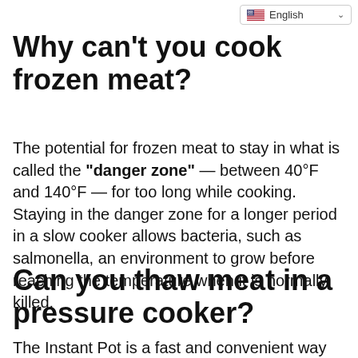[Figure (other): Language selector dropdown showing English with US flag]
Why can't you cook frozen meat?
The potential for frozen meat to stay in what is called the "danger zone" — between 40°F and 140°F — for too long while cooking. Staying in the danger zone for a longer period in a slow cooker allows bacteria, such as salmonella, an environment to grow before reaching the temperature when it is normally killed.
Can you thaw meat in a pressure cooker?
The Instant Pot is a fast and convenient way